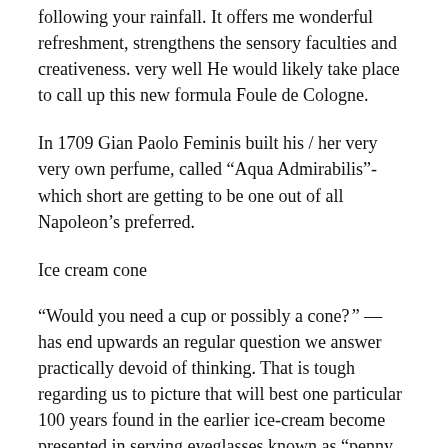following your rainfall. It offers me wonderful refreshment, strengthens the sensory faculties and creativeness. very well He would likely take place to call up this new formula Foule de Cologne.
In 1709 Gian Paolo Feminis built his / her very very own perfume, called “Aqua Admirabilis”- which short are getting to be one out of all Napoleon’s preferred.
Ice cream cone
“Would you need a cup or possibly a cone? ” — has end upwards an regular question we answer practically devoid of thinking. That is tough regarding us to picture that will best one particular 100 years found in the earlier ice-cream become presented in serving eyeglasses known as “penny licks” (because a person required to lick the